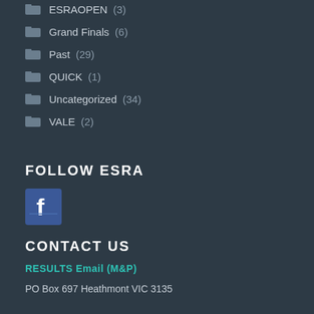ESRAOPEN (3)
Grand Finals (6)
Past (29)
QUICK (1)
Uncategorized (34)
VALE (2)
FOLLOW ESRA
[Figure (logo): Facebook logo icon, blue square with white f letter]
CONTACT US
RESULTS Email (M&P)
PO Box 697 Heathmont VIC 3135